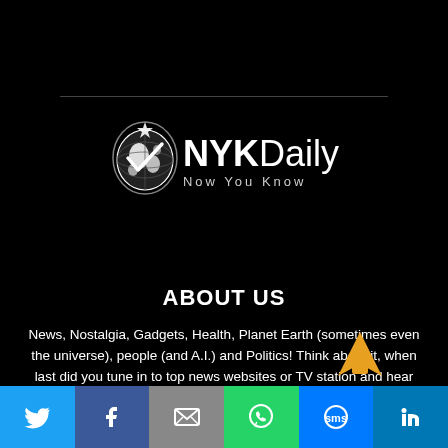[Figure (logo): NYKDaily logo with globe icon and tagline 'Now You Know']
ABOUT US
News, Nostalgia, Gadgets, Health, Planet Earth (sometimes even the universe), people (and A.I.) and Politics! Think about it, when last did you tune in to top news websites or TV station and hear something positive? The mainstream media is wired to report only the negative news, which portrays the evil side of humanity. NYK Daily was born out of the necessity to provide you with an alternative to th...
[Figure (infographic): Social share bar with Twitter, Facebook, Email, WhatsApp, SMS, LinkedIn icons]